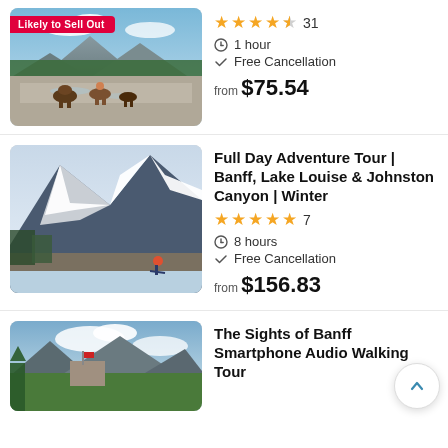[Figure (photo): Horseback riders crossing a rocky river with pine forest and mountains in background. Red badge reads 'Likely to Sell Out'.]
★★★★½ 31
⏱ 1 hour
✓ Free Cancellation
from $75.54
[Figure (photo): Snowy mountain with a skater on frozen lake in winter, dramatic rocky peaks covered in snow.]
Full Day Adventure Tour | Banff, Lake Louise & Johnston Canyon | Winter
★★★★★ 7
⏱ 8 hours
✓ Free Cancellation
from $156.83
[Figure (photo): Partial view of a mountain landscape with sky and clouds, a flag visible at a building.]
The Sights of Banff Smartphone Audio Walking Tour